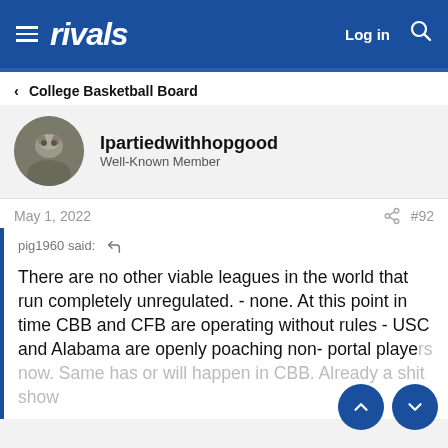rivals  Log in
< College Basketball Board
Ipartiedwithhopgood
Well-Known Member
May 1, 2022  #92
pig1960 said: ↵
There are no other viable leagues in the world that run completely unregulated. - none. At this point in time CBB and CFB are operating without rules - USC and Alabama are openly poaching non- portal players now. Same has or will happen in CBB. Already a shit show